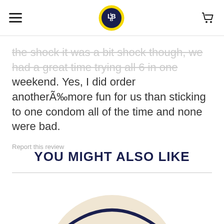Lucky Bloke logo header with hamburger menu and cart icon
the shock it was a bit shock though, we had a great time trying all 6 in one weekend. Yes, I did order anotherÃ‰more fun for us than sticking to one condom all of the time and none were bad.
Report this review
YOU MIGHT ALSO LIKE
[Figure (photo): Lucky Bloke product image with circular cream/beige background showing Lucky Bloke brand name and partial script text below]